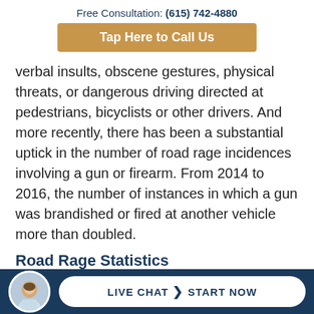Free Consultation: (615) 742-4880
Tap Here to Call Us
verbal insults, obscene gestures, physical threats, or dangerous driving directed at pedestrians, bicyclists or other drivers. And more recently, there has been a substantial uptick in the number of road rage incidences involving a gun or firearm. From 2014 to 2016, the number of instances in which a gun was brandished or fired at another vehicle more than doubled.
Road Rage Statistics
[Figure (photo): Circular avatar photo of a man in a suit, partially visible at the bottom of the page within the live chat bar]
LIVE CHAT  START NOW